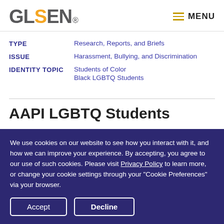GLSEN® MENU
TYPE: Research, Reports, and Briefs
ISSUE: Harassment, Bullying, and Discrimination
IDENTITY TOPIC: Students of Color / Black LGBTQ Students
AAPI LGBTQ Students
We use cookies on our website to see how you interact with it, and how we can improve your experience. By accepting, you agree to our use of such cookies. Please visit Privacy Policy to learn more, or change your cookie settings through your "Cookie Preferences" via your browser.